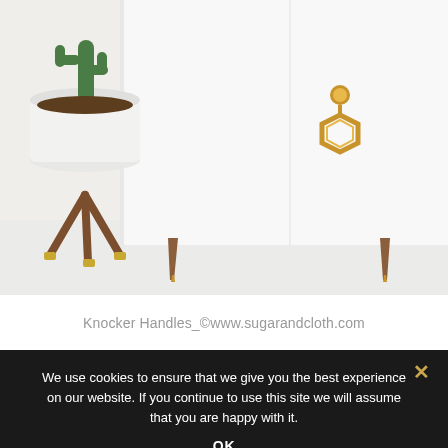[Figure (photo): Close-up photo of a white modern cabinet with gold hexagon knocker handle hardware and tapered wooden legs, next to a white planter pot with a cactus plant on a wooden stand with gold-tipped legs. Light/white background floor.]
Knocker Handles_©www.sugarandcloth.com
We use cookies to ensure that we give you the best experience on our website. If you continue to use this site we will assume that you are happy with it.
OK